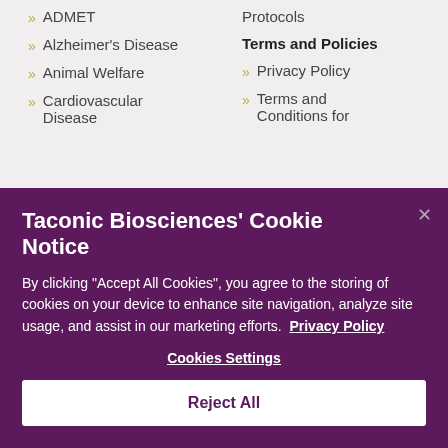ADMET
Alzheimer's Disease
Animal Welfare
Cardiovascular Disease
Protocols
Terms and Policies
Privacy Policy
Terms and Conditions for
Taconic Biosciences' Cookie Notice
By clicking “Accept All Cookies”, you agree to the storing of cookies on your device to enhance site navigation, analyze site usage, and assist in our marketing efforts. Privacy Policy
Cookies Settings
Reject All